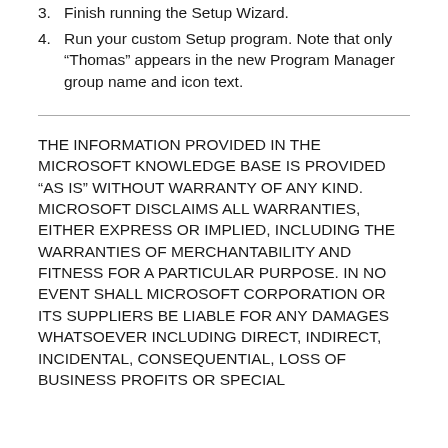3. Finish running the Setup Wizard.
4. Run your custom Setup program. Note that only "Thomas" appears in the new Program Manager group name and icon text.
THE INFORMATION PROVIDED IN THE MICROSOFT KNOWLEDGE BASE IS PROVIDED "AS IS" WITHOUT WARRANTY OF ANY KIND. MICROSOFT DISCLAIMS ALL WARRANTIES, EITHER EXPRESS OR IMPLIED, INCLUDING THE WARRANTIES OF MERCHANTABILITY AND FITNESS FOR A PARTICULAR PURPOSE. IN NO EVENT SHALL MICROSOFT CORPORATION OR ITS SUPPLIERS BE LIABLE FOR ANY DAMAGES WHATSOEVER INCLUDING DIRECT, INDIRECT, INCIDENTAL, CONSEQUENTIAL, LOSS OF BUSINESS PROFITS OR SPECIAL